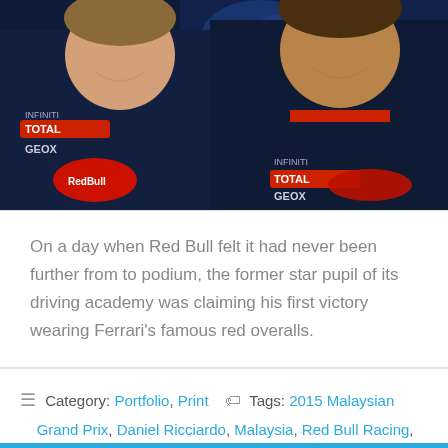[Figure (photo): Two men wearing Red Bull Racing team jackets with Infiniti, Total, GEOX, and Pepe Jeans branding, smiling at camera. Background shows racing imagery with a number 1.]
On a day when Red Bull felt it had never been further from to podium, the former star pupil of its driving academy was claiming his first victory wearing Ferrari's famous red overalls.
Category: Portfolio, Print  Tags: 2015 Malaysian Grand Prix, Daniel Ricciardo, Malaysia, Red Bull Racing, Sepang